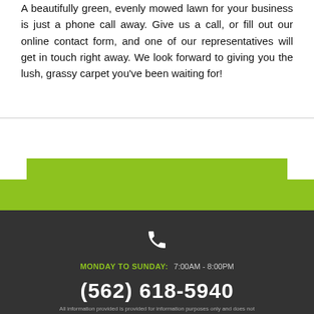A beautifully green, evenly mowed lawn for your business is just a phone call away. Give us a call, or fill out our online contact form, and one of our representatives will get in touch right away. We look forward to giving you the lush, grassy carpet you’ve been waiting for!
GET IN TOUCH WITH US TODAY
MONDAY TO SUNDAY: 7:00AM - 8:00PM
(562) 618-5940
All information provided is provided for information purposes only and does not